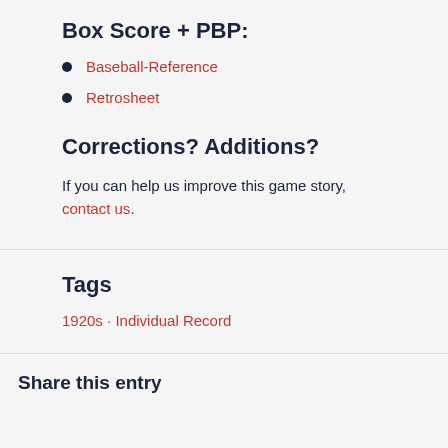Box Score + PBP:
Baseball-Reference
Retrosheet
Corrections? Additions?
If you can help us improve this game story, contact us.
Tags
1920s · Individual Record
Share this entry